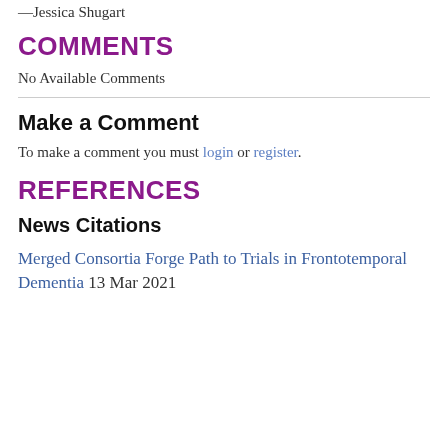—Jessica Shugart
COMMENTS
No Available Comments
Make a Comment
To make a comment you must login or register.
REFERENCES
News Citations
Merged Consortia Forge Path to Trials in Frontotemporal Dementia 13 Mar 2021